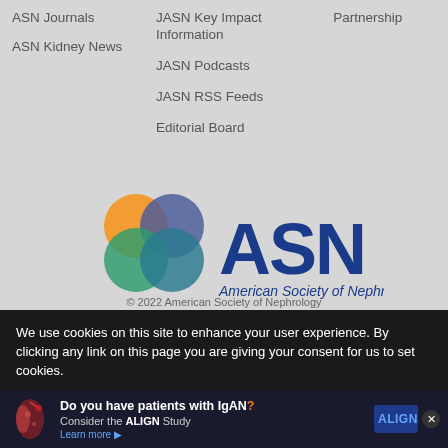ASN Journals
ASN Kidney News
JASN Key Impact Information
JASN Podcasts
JASN RSS Feeds
Editorial Board
Partnership
[Figure (logo): ASN (American Society of Nephrology) logo with four overlapping colored circles (orange, purple, teal, green) and bold blue ASN text with italic subtitle 'American Society of Nephrology']
© 2022 American Society of Nephrology
We use cookies on this site to enhance your user experience. By clicking any link on this page you are giving your consent for us to set cookies.
[Figure (infographic): Advertisement banner: 'Do you have patients with IgAN? Consider the ALIGN Study. Learn more.' with kidney illustration and ALIGN logo]